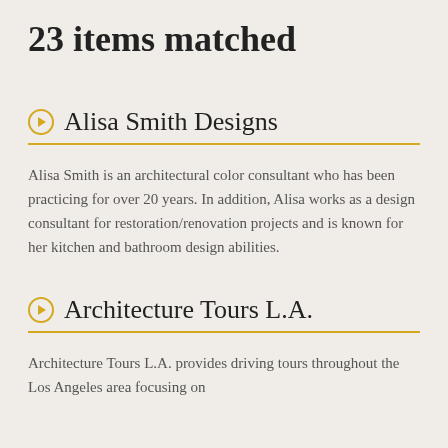23 items matched
Alisa Smith Designs
Alisa Smith is an architectural color consultant who has been practicing for over 20 years. In addition, Alisa works as a design consultant for restoration/renovation projects and is known for her kitchen and bathroom design abilities.
Architecture Tours L.A.
Architecture Tours L.A. provides driving tours throughout the Los Angeles area focusing on